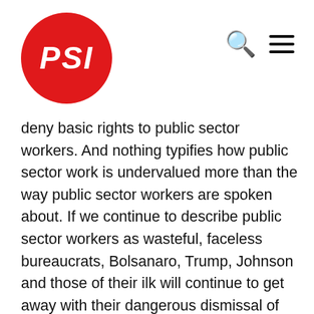PSI logo with navigation icons
deny basic rights to public sector workers. And nothing typifies how public sector work is undervalued more than the way public sector workers are spoken about. If we continue to describe public sector workers as wasteful, faceless bureaucrats, Bolsanaro, Trump, Johnson and those of their ilk will continue to get away with their dangerous dismissal of public sector expert advice. The cuts, privatisations, and outsourcing will only continue. And when the next crisis comes, we will be even less prepared than we were this time. If we are to Build Back Better, we must start by valuing public services and the workers who provide them. When the applause stops, we must have the courage to go so much further. There is hope. The public has recognised the conditions frontline workers have had to endure – their applause reflects a